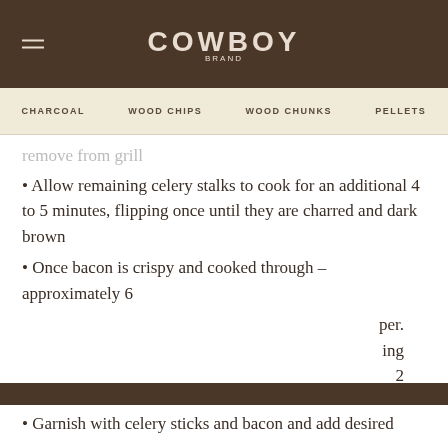COWBOY
CHARCOAL  WOOD CHIPS  WOOD CHUNKS  PELLETS
remove from grill
• Allow remaining celery stalks to cook for an additional 4 to 5 minutes, flipping once until they are charred and dark brown
• Once bacon is crispy and cooked through – approximately 6 [text cut off]
[partially obscured] per.
[partially obscured] ing
[partially obscured] 2
[Figure (other): Cookie consent overlay with dark brown background, message 'This website uses cookies to ensure you get the best experience on our website.', a 'Read Our Policy' link, and an orange 'Close' button]
• Garnish with celery sticks and bacon and add desired